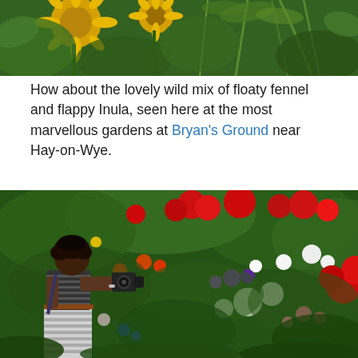[Figure (photo): Close-up photo of yellow sunflower-like Inula blooms and feathery green fennel foliage against a green background]
How about the lovely wild mix of floaty fennel and flappy Inula, seen here at the most marvellous gardens at Bryan's Ground near Hay-on-Wye.
[Figure (photo): A woman holding a camera photographs a lush, colourful garden border filled with red, white, orange, purple and pink flowers at Bryan's Ground near Hay-on-Wye]